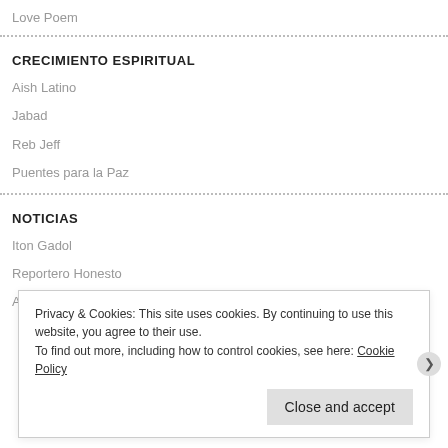Love Poem
CRECIMIENTO ESPIRITUAL
Aish Latino
Jabad
Reb Jeff
Puentes para la Paz
NOTICIAS
Iton Gadol
Reportero Honesto
Aurora
Privacy & Cookies: This site uses cookies. By continuing to use this website, you agree to their use.
To find out more, including how to control cookies, see here: Cookie Policy
Close and accept